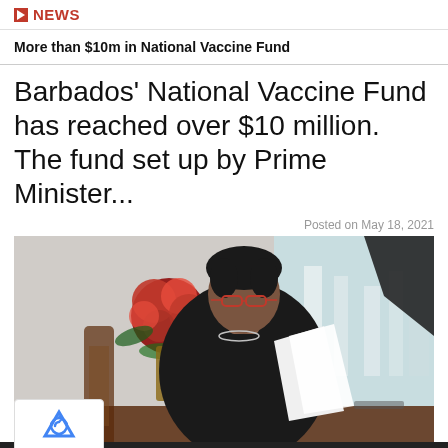NEWS
More than $10m in National Vaccine Fund
Barbados' National Vaccine Fund has reached over $10 million. The fund set up by Prime Minister...
Posted on May 18, 2021
[Figure (photo): A woman in a black outfit sitting at a desk holding papers, with red flowers in the background and white balustrades visible through the window.]
Privacy · Terms